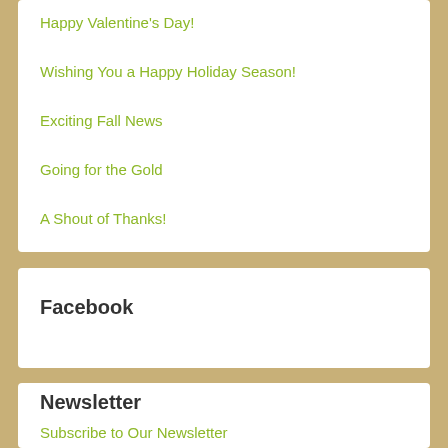Happy Valentine's Day!
Wishing You a Happy Holiday Season!
Exciting Fall News
Going for the Gold
A Shout of Thanks!
Facebook
Newsletter
Subscribe to Our Newsletter